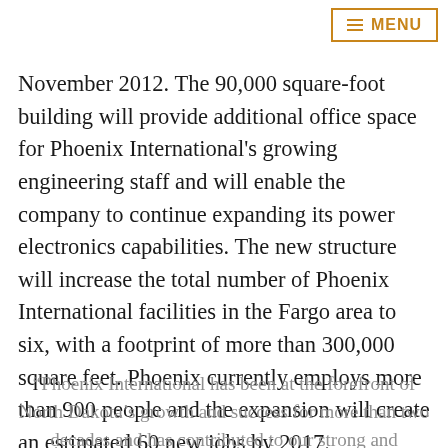≡ MENU
November 2012. The 90,000 square-foot building will provide additional office space for Phoenix International's growing engineering staff and will enable the company to continue expanding its power electronics capabilities. The new structure will increase the total number of Phoenix International facilities in the Fargo area to six, with a footprint of more than 300,000 square feet. Phoenix currently employs more than 900 people and the expansion will create an estimated 60 new jobs by 2017.
“Phoenix International has been at the forefront of North Dakota’s growth and success for more than two decades and has contributed to our strong and